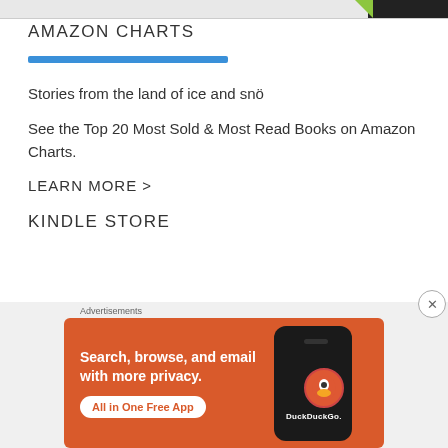AMAZON CHARTS
[Figure (other): Blue horizontal decorative bar]
Stories from the land of ice and snö
See the Top 20 Most Sold & Most Read Books on Amazon Charts.
LEARN MORE >
KINDLE STORE
Advertisements
[Figure (illustration): DuckDuckGo advertisement banner: orange background with text 'Search, browse, and email with more privacy. All in One Free App' alongside a phone image showing the DuckDuckGo app icon and logo.]